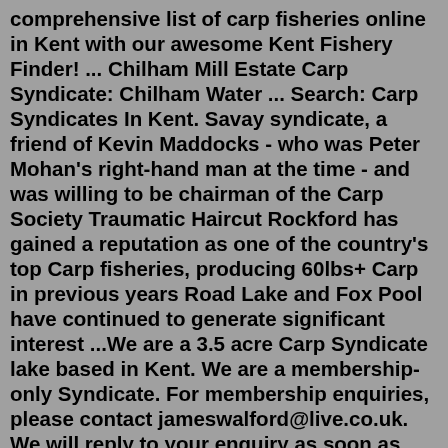comprehensive list of carp fisheries online in Kent with our awesome Kent Fishery Finder! ... Chilham Mill Estate Carp Syndicate: Chilham Water ... Search: Carp Syndicates In Kent. Savay syndicate, a friend of Kevin Maddocks - who was Peter Mohan's right-hand man at the time - and was willing to be chairman of the Carp Society Traumatic Haircut Rockford has gained a reputation as one of the country's top Carp fisheries, producing 60lbs+ Carp in previous years Road Lake and Fox Pool have continued to generate significant interest ...We are a 3.5 acre Carp Syndicate lake based in Kent. We are a membership-only Syndicate. For membership enquiries, please contact jameswalford@live.co.uk. We will reply to your enquiry as soon as possible. For now, please enjoy our gallery images to see some of the fish caught on the Brooksway Syndicate. A stunning fishing complex close to jct4 of the M20 in the heart of Kent. The complex boasts over 20, 30lb carp with two known to be caught at over 40lb 3,022 people like this 3,130 people follow this Sports Photos